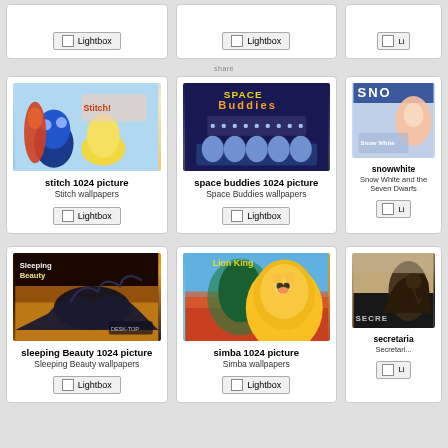[Figure (screenshot): Top partial row of three cards each with a Lightbox button]
[Figure (screenshot): Card: stitch 1024 picture - Stitch wallpapers with Lightbox button]
[Figure (screenshot): Card: space buddies 1024 picture - Space Buddies wallpapers with Lightbox button]
[Figure (screenshot): Card: snowwhite - Snow White and the Seven Dwarfs with Lightbox button (partially visible)]
[Figure (screenshot): Card: sleeping Beauty 1024 picture - Sleeping Beauty wallpapers with Lightbox button]
[Figure (screenshot): Card: simba 1024 picture - Simba wallpapers with Lightbox button]
[Figure (screenshot): Card: secretaria - Secretariat (partially visible) with Lightbox button]